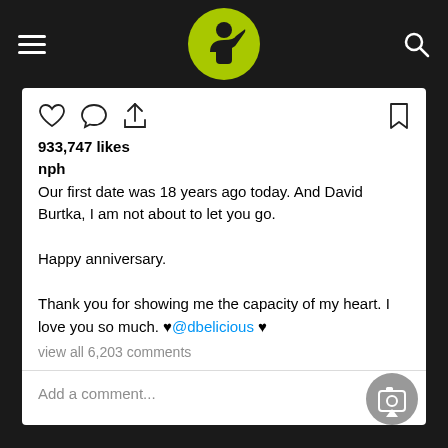[Figure (logo): Website navigation bar with hamburger menu, green circle logo with person drinking silhouette, and search icon on dark background]
933,747 likes
nph
Our first date was 18 years ago today. And David Burtka, I am not about to let you go.

Happy anniversary.

Thank you for showing me the capacity of my heart. I love you so much. ♥@dbelicious ♥
view all 6,203 comments
Add a comment...